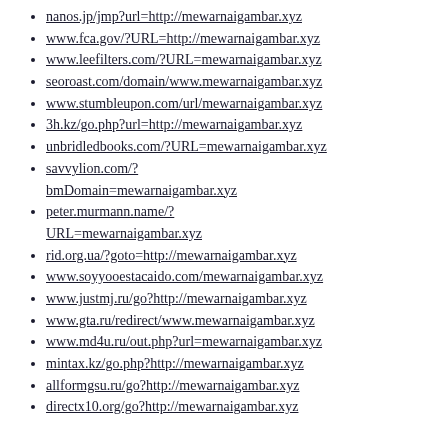nanos.jp/jmp?url=http://mewarnaigambar.xyz
www.fca.gov/?URL=http://mewarnaigambar.xyz
www.leefilters.com/?URL=mewarnaigambar.xyz
seoroast.com/domain/www.mewarnaigambar.xyz
www.stumbleupon.com/url/mewarnaigambar.xyz
3h.kz/go.php?url=http://mewarnaigambar.xyz
unbridledbooks.com/?URL=mewarnaigambar.xyz
savvylion.com/?bmDomain=mewarnaigambar.xyz
peter.murmann.name/?URL=mewarnaigambar.xyz
rid.org.ua/?goto=http://mewarnaigambar.xyz
www.soyyooestacaido.com/mewarnaigambar.xyz
www.justmj.ru/go?http://mewarnaigambar.xyz
www.gta.ru/redirect/www.mewarnaigambar.xyz
www.md4u.ru/out.php?url=mewarnaigambar.xyz
mintax.kz/go.php?http://mewarnaigambar.xyz
allformgsu.ru/go?http://mewarnaigambar.xyz
directx10.org/go?http://mewarnaigambar.xyz